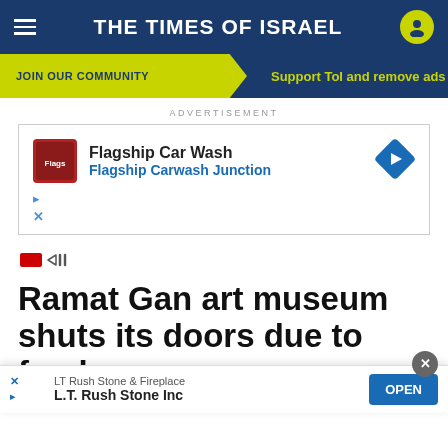THE TIMES OF ISRAEL
JOIN OUR COMMUNITY — Support ToI and remove ads
ADVERTISEMENT
[Figure (other): Advertisement for Flagship Car Wash / Flagship Carwash Junction]
[Figure (other): Video camera icon indicating video content]
Ramat Gan art museum shuts its doors due to feud over con...
Galler...e
[Figure (other): Advertisement overlay for LT Rush Stone & Fireplace / L.T. Rush Stone Inc with OPEN button]